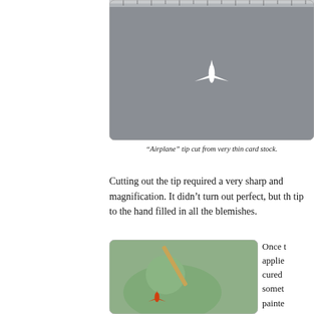[Figure (photo): Photo of a small white airplane-shaped tip cut from thin card stock, lying on a gray surface, with a ruler visible at the top edge.]
“Airplane” tip cut from very thin card stock.
Cutting out the tip required a very sharp and magnification. It didn’t turn out perfect, but th tip to the hand filled in all the blemishes.
[Figure (photo): Close-up photo of a hand in a green glove holding a small orange/red airplane-shaped tip attached to a wooden stick or toothpick.]
Once t applied cured somet painte tip wi o’cloc